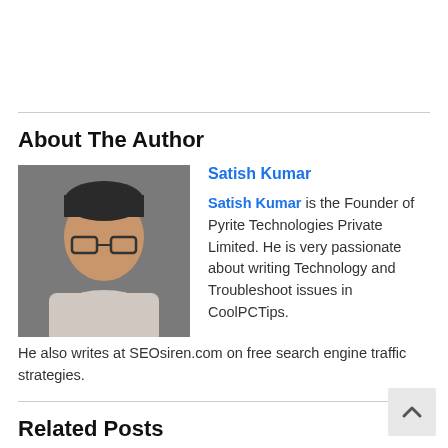About The Author
[Figure (photo): Photo of Satish Kumar, a man with glasses]
Satish Kumar
Satish Kumar is the Founder of Pyrite Technologies Private Limited. He is very passionate about writing Technology and Troubleshoot issues in CoolPCTips. He also writes at SEOsiren.com on free search engine traffic strategies.
Related Posts
[Figure (photo): Facebook logo thumbnail showing 'cebo' text]
How to get a Short Facebook Profile Link